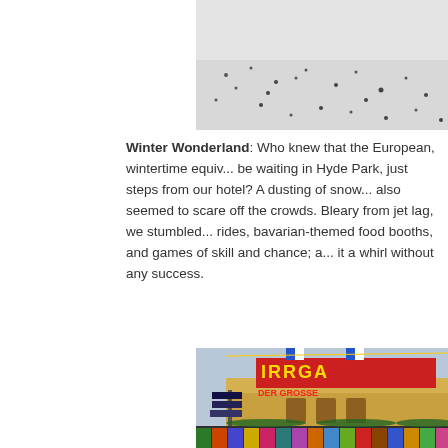[Figure (photo): Snowy ground with scattered dark spots/debris visible on white snow surface]
Winter Wonderland: Who knew that the European, wintertime equiv... be waiting in Hyde Park, just steps from our hotel? A dusting of snow... also seemed to scare off the crowds. Bleary from jet lag, we stumbled... rides, bavarian-themed food booths, and games of skill and chance; a... it a whirl without any success.
[Figure (photo): Colorful fairground attraction at Winter Wonderland in Hyde Park, showing a Bavarian-themed building with the sign reading 'DER GROSSE IRRGA...' with colorful lights, flags, banners, and merchandise stalls in the foreground]